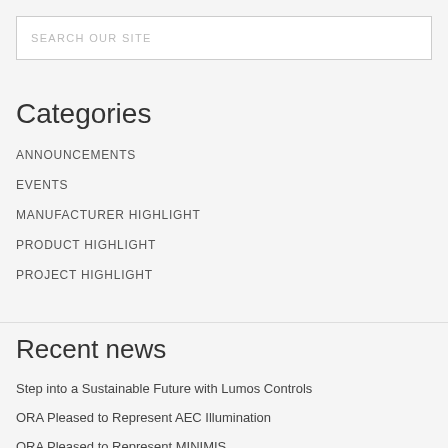SEARCH OUR SITE
Categories
ANNOUNCEMENTS
EVENTS
MANUFACTURER HIGHLIGHT
PRODUCT HIGHLIGHT
PROJECT HIGHLIGHT
Recent news
Step into a Sustainable Future with Lumos Controls
ORA Pleased to Represent AEC Illumination
ORA Pleased to Represent MINIMIS